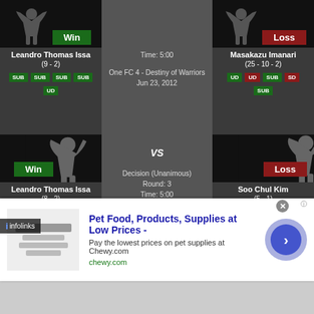[Figure (screenshot): MMA fight result card showing two rows of fight records. Top row: Leandro Thomas Issa (9-2) Win vs Masakazu Imanari (25-10-2) Loss at One FC 4 - Destiny of Warriors, Jun 23, 2012, Time: 5:00. Bottom row: Leandro Thomas Issa (8-2) Win vs Soo Chul Kim (5-1) Loss at One FC - Champion vs. Champion, Sep 03, 2011, Decision (Unanimous), Round: 3, Time: 5:00.]
Leandro Thomas Issa (9 - 2)
One FC 4 - Destiny of Warriors Jun 23, 2012 Time: 5:00
Masakazu Imanari (25 - 10 - 2)
Leandro Thomas Issa (8 - 2)
One FC - Champion vs. Champion Sep 03, 2011 Decision (Unanimous) Round: 3 Time: 5:00 VS
Soo Chul Kim (5 - 1)
Pet Food, Products, Supplies at Low Prices - Pay the lowest prices on pet supplies at Chewy.com chewy.com